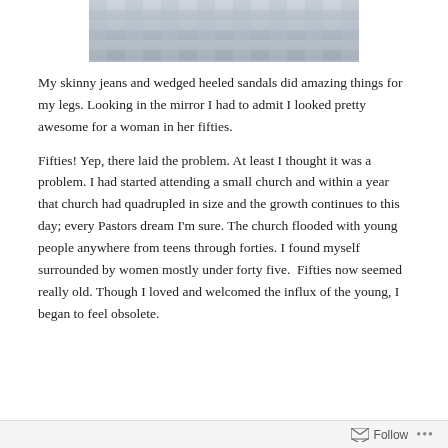[Figure (photo): Photo of clothing items hanging on a rack, mostly jeans and casual wear]
My skinny jeans and wedged heeled sandals did amazing things for my legs. Looking in the mirror I had to admit I looked pretty awesome for a woman in her fifties.
Fifties! Yep, there laid the problem. At least I thought it was a problem. I had started attending a small church and within a year that church had quadrupled in size and the growth continues to this day; every Pastors dream I'm sure. The church flooded with young people anywhere from teens through forties. I found myself surrounded by women mostly under forty five.  Fifties now seemed really old. Though I loved and welcomed the influx of the young, I began to feel obsolete.
Follow